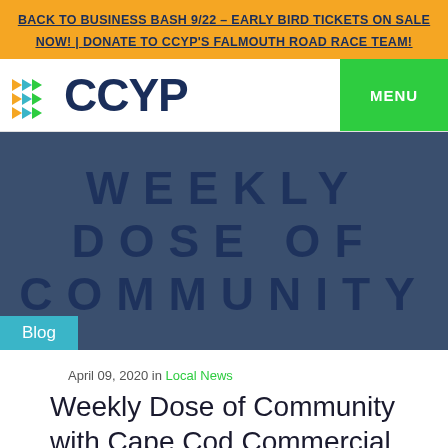BACK TO BUSINESS BASH 9/22 – EARLY BIRD TICKETS ON SALE NOW! | DONATE TO CCYP'S FALMOUTH ROAD RACE TEAM!
[Figure (logo): CCYP logo with colorful arrow chevrons and CCYP text, with green MENU button]
[Figure (illustration): Dark blue banner with large bold text: WEEKLY DOSE OF COMMUNITY, and a teal Blog tag in the lower left]
April 09, 2020 in Local News
Weekly Dose of Community with Cape Cod Commercial